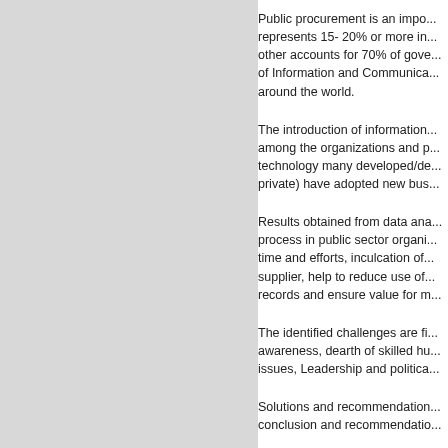Public procurement is an impo... represents 15- 20% or more in... other accounts for 70% of gove... of Information and Communica... around the world.
The introduction of information... among the organizations and p... technology many developed/de... private) have adopted new bus...
Results obtained from data ana... process in public sector organi... time and efforts, inculcation of... supplier, help to reduce use of... records and ensure value for m...
The identified challenges are fi... awareness, dearth of skilled hu... issues, Leadership and politica...
Solutions and recommendation... conclusion and recommendatio...
Pages
74